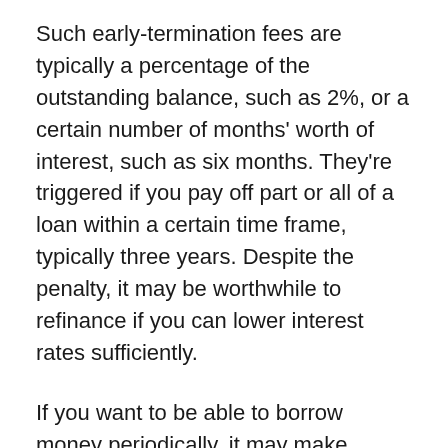Such early-termination fees are typically a percentage of the outstanding balance, such as 2%, or a certain number of months' worth of interest, such as six months. They're triggered if you pay off part or all of a loan within a certain time frame, typically three years. Despite the penalty, it may be worthwhile to refinance if you can lower interest rates sufficiently.
If you want to be able to borrow money periodically, it may make sense to go for a home equity line of credit instead of a lump-sum second mortgage. Although more lenders are charging stiff prepayment penalties for HELOCs too, these are triggered when the line is closed within a certain period, such as three years, not when the balance is paid off. Bear in mind that interest rates on most